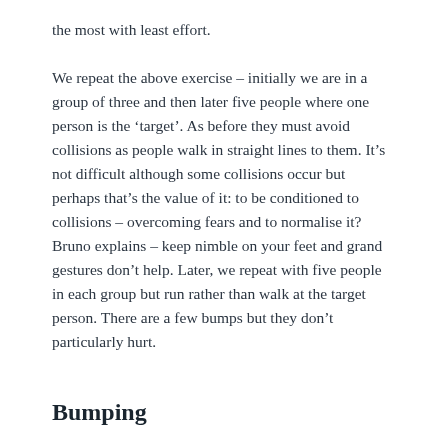the most with least effort.
We repeat the above exercise – initially we are in a group of three and then later five people where one person is the 'target'. As before they must avoid collisions as people walk in straight lines to them. It's not difficult although some collisions occur but perhaps that's the value of it: to be conditioned to collisions – overcoming fears and to normalise it? Bruno explains – keep nimble on your feet and grand gestures don't help. Later, we repeat with five people in each group but run rather than walk at the target person. There are a few bumps but they don't particularly hurt.
Bumping
We standing in a circle and Bruno describes the...